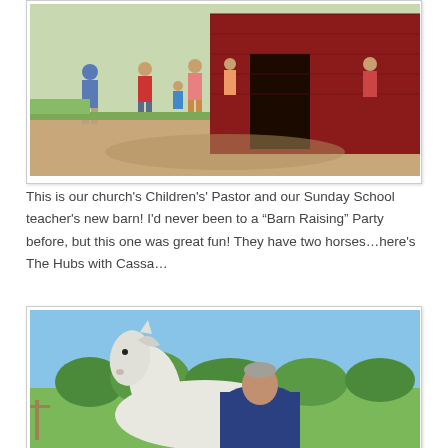[Figure (photo): Photo of people standing outside a large red barn with a dirt yard. Several adults and children are visible near the barn entrance.]
This is our church's Children's' Pastor and our Sunday School teacher's new barn! I'd never been to a "Barn Raising" Party before, but this one was great fun! They have two horses…here's The Hubs with Cassa…
[Figure (photo): Photo of a man seen from behind standing next to a white horse. Green trees and blue sky visible in the background.]